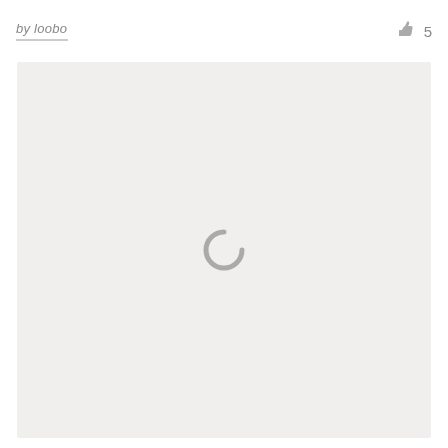by loobo  👍 5
[Figure (screenshot): A large light gray content area with a gray loading spinner icon (partial circle) centered in it, indicating content is loading.]